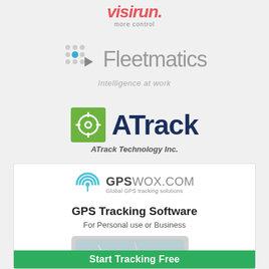[Figure (logo): Visirun logo with tagline 'more control' in red/pink italic text]
[Figure (logo): Fleetmatics logo with dots-and-arrow icon and tagline 'Intelligence at work']
[Figure (logo): ATrack logo with green square icon containing crosshair, navy blue bold text, and tagline 'ATrack Technology Inc.']
[Figure (advertisement): GPSWOX.COM advertisement with GPS tracking icon, headline 'GPS Tracking Software', subtext 'For Personal use or Business', laptop screenshot illustration, and green 'Start Tracking Free' CTA button]